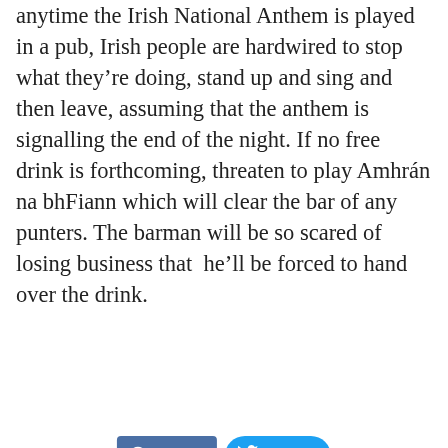anytime the Irish National Anthem is played in a pub, Irish people are hardwired to stop what they're doing, stand up and sing and then leave, assuming that the anthem is signalling the end of the night. If no free drink is forthcoming, threaten to play Amhrán na bhFiann which will clear the bar of any punters. The barman will be so scared of losing business that  he'll be forced to hand over the drink.
[Figure (other): Social sharing buttons: Facebook Share button and Twitter Tweet button]
DISCLAIMER: Everything on this website, if you haven't noticed, is 'faux-news'. This means none of it is true...nothing...nada...zilch. It is all purely for humour's sake. If you don't have a sense of humour you shouldn't be here or anywhere where there are other humans. If you have a complaint please contact us and we will send our customer care team to your house when upon their arrival you will be euthanised. Enjoy!